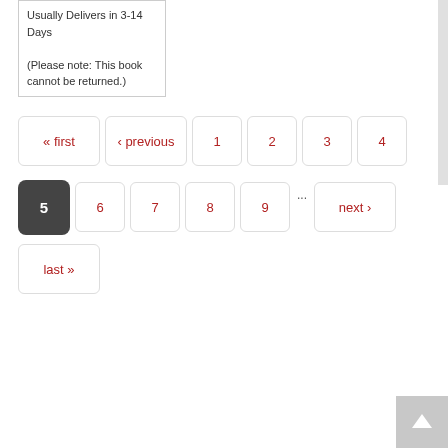Usually Delivers in 3-14 Days
(Please note: This book cannot be returned.)
« first
‹ previous
1
2
3
4
5
6
7
8
9
...
next ›
last »